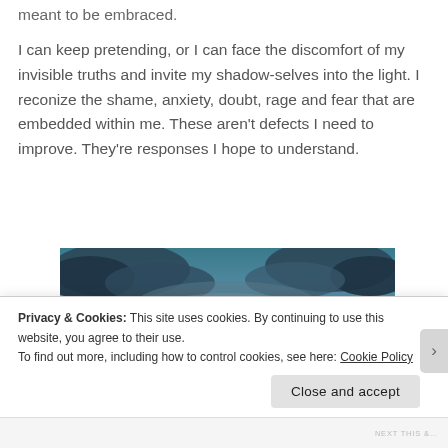meant to be embraced.
I can keep pretending, or I can face the discomfort of my invisible truths and invite my shadow-selves into the light. I reconize the shame, anxiety, doubt, rage and fear that are embedded within me. These aren't defects I need to improve. They're responses I hope to understand.
[Figure (photo): A dramatic sunset photo showing a person standing with arms outstretched as a silhouette against a vivid orange and red sky with dark clouds and water reflection.]
Privacy & Cookies: This site uses cookies. By continuing to use this website, you agree to their use.
To find out more, including how to control cookies, see here: Cookie Policy
Close and accept